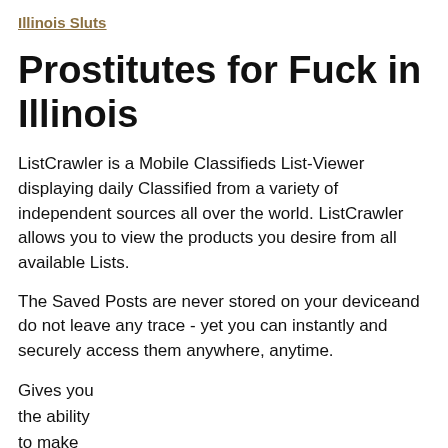Illinois Sluts
Prostitutes for Fuck in Illinois
ListCrawler is a Mobile Classifieds List-Viewer displaying daily Classified from a variety of independent sources all over the world. ListCrawler allows you to view the products you desire from all available Lists.
The Saved Posts are never stored on your deviceand do not leave any trace - yet you can instantly and securely access them anywhere, anytime.
Gives you
the ability
to make
Private